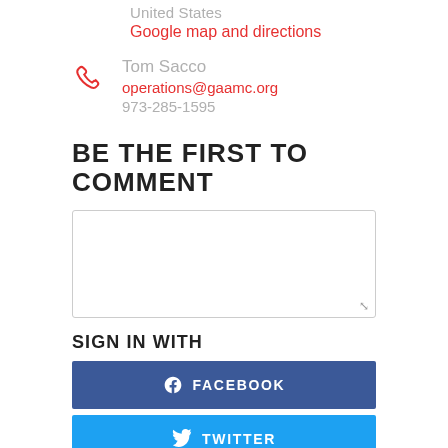United States
Google map and directions
Tom Sacco
operations@gaamc.org
973-285-1595
BE THE FIRST TO COMMENT
[comment text area]
SIGN IN WITH
FACEBOOK
TWITTER